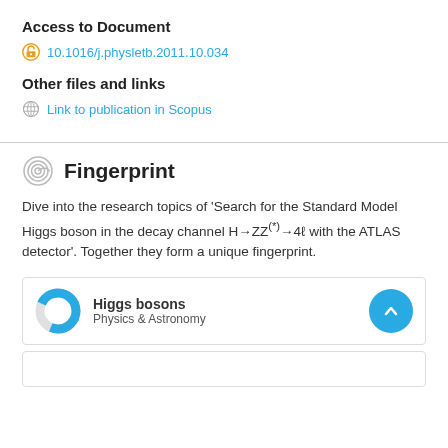Access to Document
10.1016/j.physletb.2011.10.034
Other files and links
Link to publication in Scopus
Fingerprint
Dive into the research topics of 'Search for the Standard Model Higgs boson in the decay channel H→ZZ(*)→4ℓ with the ATLAS detector'. Together they form a unique fingerprint.
Higgs bosons
Physics & Astronomy